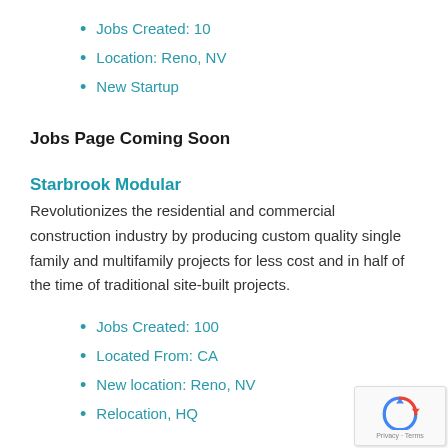Jobs Created: 10
Location: Reno, NV
New Startup
Jobs Page Coming Soon
Starbrook Modular
Revolutionizes the residential and commercial construction industry by producing custom quality single family and multifamily projects for less cost and in half of the time of traditional site-built projects.
Jobs Created: 100
Located From: CA
New location: Reno, NV
Relocation, HQ